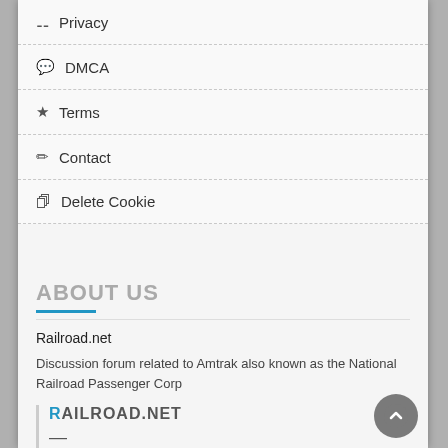Privacy
DMCA
Terms
Contact
Delete Cookie
ABOUT US
Railroad.net
Discussion forum related to Amtrak also known as the National Railroad Passenger Corp
RAILROAD.NET